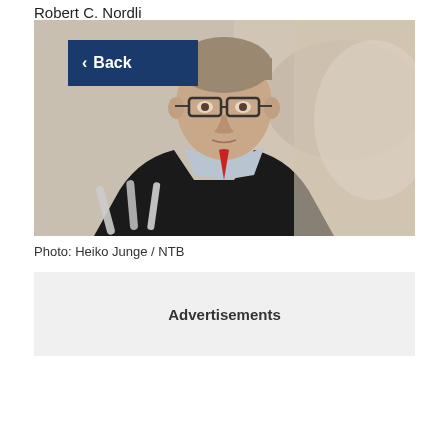Robert C. Nordli
[Figure (photo): Navigation back button overlaid on a photo of Robert C. Nordli, a man in a dark suit with glasses, looking upward, with microphones in the foreground and a blurred background.]
Photo: Heiko Junge / NTB
Advertisements